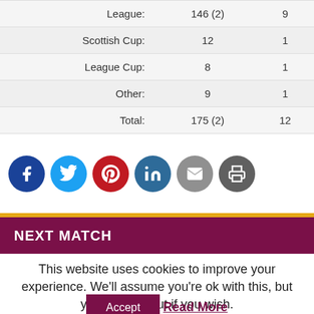|  |  |  |
| --- | --- | --- |
| League: | 146 (2) | 9 |
| Scottish Cup: | 12 | 1 |
| League Cup: | 8 | 1 |
| Other: | 9 | 1 |
| Total: | 175 (2) | 12 |
[Figure (infographic): Social share icons: Facebook, Twitter, Pinterest, LinkedIn, Email, Print]
NEXT MATCH
This website uses cookies to improve your experience. We'll assume you're ok with this, but you can opt-out if you wish.
Accept   Read More